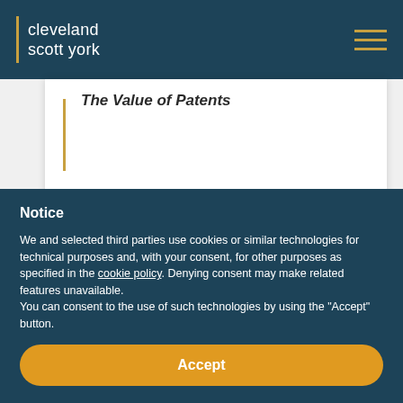cleveland scott york
The Value of Patents
Notice
We and selected third parties use cookies or similar technologies for technical purposes and, with your consent, for other purposes as specified in the cookie policy. Denying consent may make related features unavailable.
You can consent to the use of such technologies by using the “Accept” button.
Accept